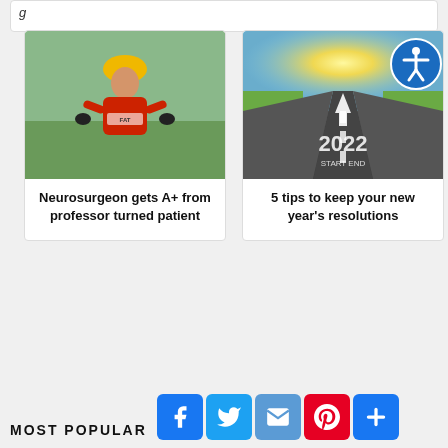g
[Figure (photo): Man in cycling gear (red jersey, yellow helmet) smiling and holding a bicycle outdoors]
Neurosurgeon gets A+ from professor turned patient
[Figure (photo): Road vanishing into sunrise with '2022 START END' painted on asphalt and a white arrow]
5 tips to keep your new year's resolutions
MOST POPULAR